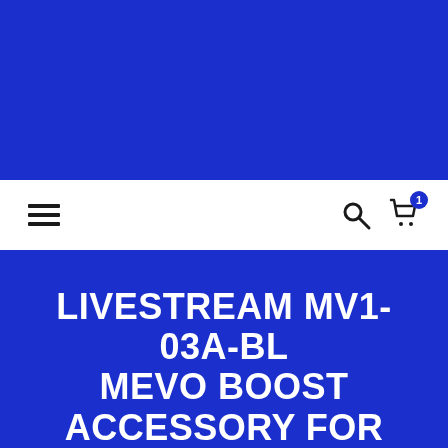[Figure (screenshot): Blue header banner area at the top of a retail/e-commerce website]
Navigation bar with hamburger menu on left, search icon and shopping cart (badge: 1) on right
LIVESTREAM MV1-03A-BL MEVO BOOST ACCESSORY FOR